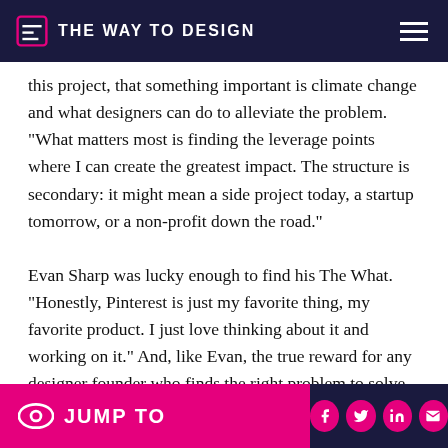THE WAY TO DESIGN
this project, that something important is climate change and what designers can do to alleviate the problem. “What matters most is finding the leverage points where I can create the greatest impact. The structure is secondary: it might mean a side project today, a startup tomorrow, or a non-profit down the road.”
Evan Sharp was lucky enough to find his The What. “Honestly, Pinterest is just my favorite thing, my favorite product. I just love thinking about it and working on it.” And, like Evan, the true reward for any designer founder who finds the right problem to solve—is that you get to
JUMP TO